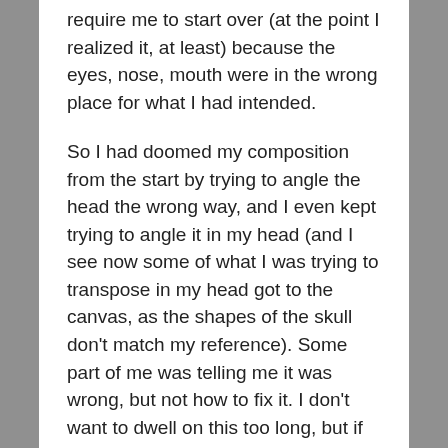require me to start over (at the point I realized it, at least) because the eyes, nose, mouth were in the wrong place for what I had intended.
So I had doomed my composition from the start by trying to angle the head the wrong way, and I even kept trying to angle it in my head (and I see now some of what I was trying to transpose in my head got to the canvas, as the shapes of the skull don't match my reference). Some part of me was telling me it was wrong, but not how to fix it. I don't want to dwell on this too long, but if you're an artist and you're reading this, let me know how you get around this obstacle – what